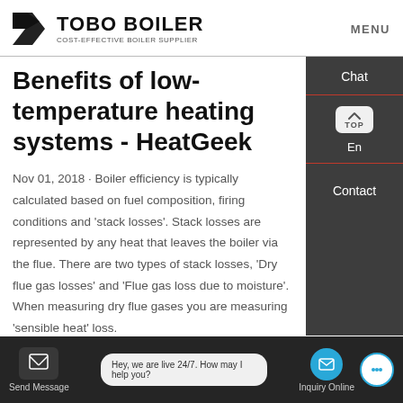TOBO BOILER – COST-EFFECTIVE BOILER SUPPLIER | MENU
Benefits of low-temperature heating systems - HeatGeek
Nov 01, 2018 · Boiler efficiency is typically calculated based on fuel composition, firing conditions and 'stack losses'. Stack losses are represented by any heat that leaves the boiler via the flue. There are two types of stack losses, 'Dry flue gas losses' and 'Flue gas loss due to moisture'. When measuring dry flue gases you are measuring 'sensible heat' loss.
Send Message | Hey, we are live 24/7. How may I help you? | Inquiry Online